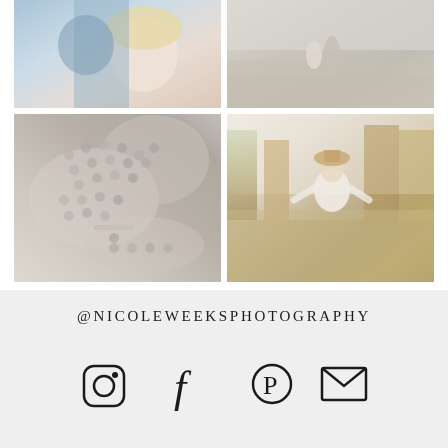[Figure (photo): Two-by-two grid of photography portfolio images: top-left shows a close-up of a woman with blonde hair and a man in blue suit; top-right shows a couple walking in a field; bottom-left shows close-up of jeweled shoes/heels; bottom-right shows a woman in white dress laughing in an autumn field.]
@NICOLEWEEKSPHOTOGRAPHY
[Figure (other): Row of four social media icons: Instagram camera icon, Facebook 'f' icon, Pinterest 'P' icon, envelope/email icon]